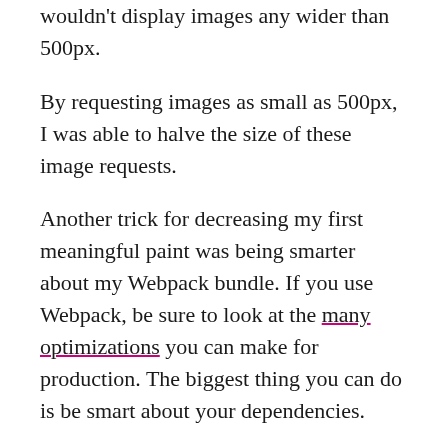wouldn't display images any wider than 500px.
By requesting images as small as 500px, I was able to halve the size of these image requests.
Another trick for decreasing my first meaningful paint was being smarter about my Webpack bundle. If you use Webpack, be sure to look at the many optimizations you can make for production. The biggest thing you can do is be smart about your dependencies.